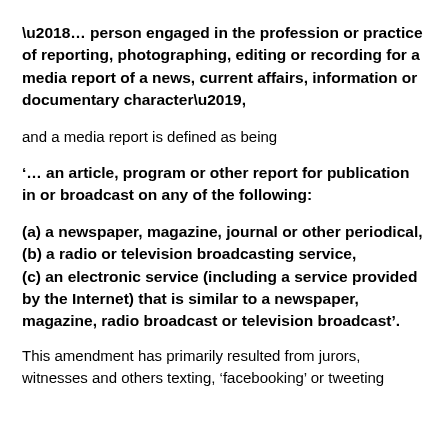‘… person engaged in the profession or practice of reporting, photographing, editing or recording for a media report of a news, current affairs, information or documentary character’,
and a media report is defined as being
‘… an article, program or other report for publication in or broadcast on any of the following:
(a) a newspaper, magazine, journal or other periodical,
(b) a radio or television broadcasting service,
(c) an electronic service (including a service provided by the Internet) that is similar to a newspaper, magazine, radio broadcast or television broadcast’.
This amendment has primarily resulted from jurors, witnesses and others texting, ‘facebooking’ or tweeting